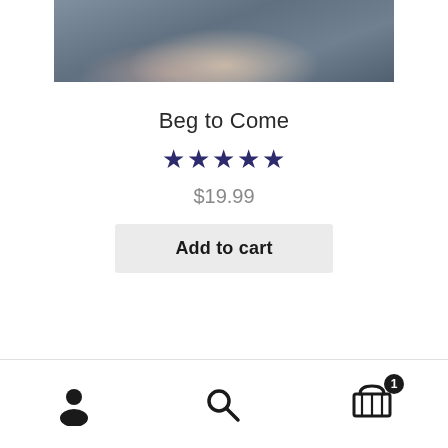[Figure (photo): Product photo showing a figure on a textured grey/blue background, cropped to show hands and body]
Beg to Come
★★★★★
$19.99
Add to cart
Navigation bar with user icon, search icon, and cart icon with badge showing 1